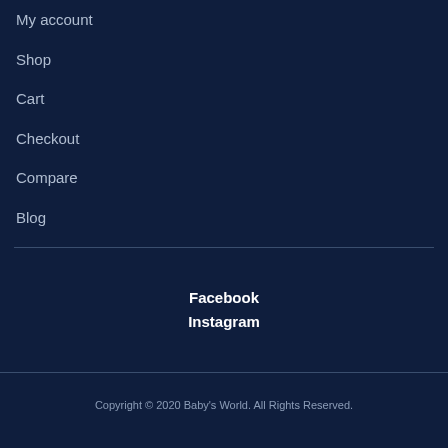My account
Shop
Cart
Checkout
Compare
Blog
Facebook
Instagram
Copyright © 2020 Baby's World. All Rights Reserved.